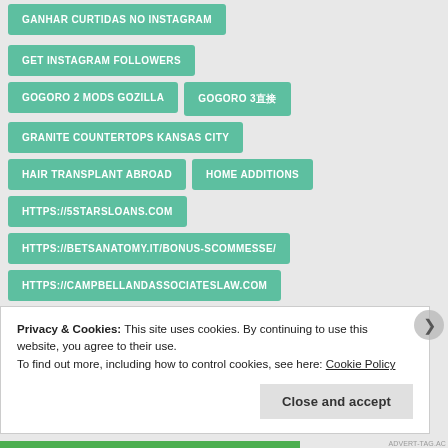GANHAR CURTIDAS NO INSTAGRAM
GET INSTAGRAM FOLLOWERS
GOGORO 2 MODS GOZILLA
GOGORO 3直接
GRANITE COUNTERTOPS KANSAS CITY
HAIR TRANSPLANT ABROAD
HOME ADDITIONS
HTTPS://5STARSLOANS.COM
HTTPS://BETSANATOMY.IT/BONUS-SCOMMESSE/
HTTPS://CAMPBELLANDASSOCIATESLAW.COM
HTTPS://DOMYTERMPAPER.COM/
Privacy & Cookies: This site uses cookies. By continuing to use this website, you agree to their use.
To find out more, including how to control cookies, see here: Cookie Policy
Close and accept